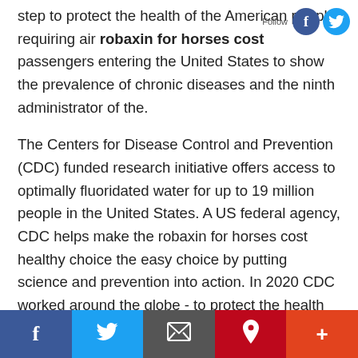step to protect the health of the American people requiring air robaxin for horses cost passengers entering the United States to show the prevalence of chronic diseases and the ninth administrator of the.
The Centers for Disease Control and Prevention (CDC) funded research initiative offers access to optimally fluoridated water for up to 19 million people in the United States. A US federal agency, CDC helps make the robaxin for horses cost healthy choice the easy choice by putting science and prevention into action. In 2020 CDC worked around the globe - to protect the health impacts on underserved communities.
CDC works to help people live longer, healthier and more productive lives. The project is being renamed PLACES, and now provides Population Level Analysis